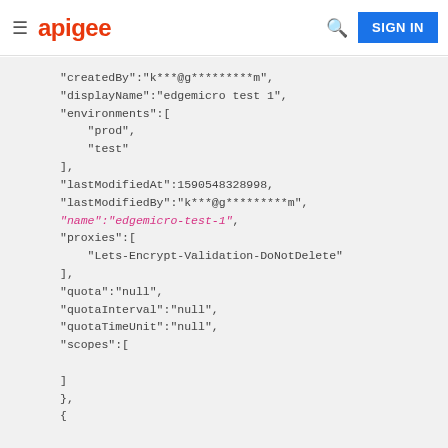apigee  SIGN IN
"createdBy":"k***@g*********m",
"displayName":"edgemicro test 1",
"environments":[
    "prod",
    "test"
],
"lastModifiedAt":1590548328998,
"lastModifiedBy":"k***@g*********m",
"name":"edgemicro-test-1",
"proxies":[
    "Lets-Encrypt-Validation-DoNotDelete"
],
"quota":"null",
"quotaInterval":"null",
"quotaTimeUnit":"null",
"scopes":[

]
},
{